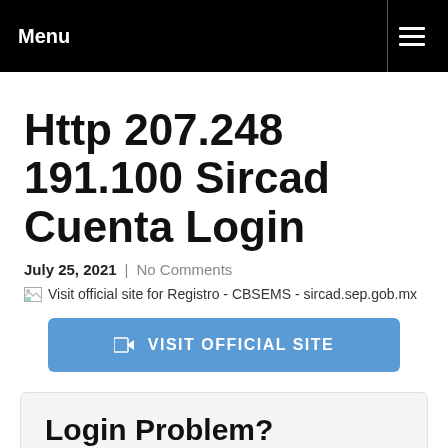Menu
Http 207.248 191.100 Sircad Cuenta Login
July 25, 2021 | No Comments
[Figure (other): Broken image placeholder: Visit official site for Registro - CBSEMS - sircad.sep.gob.mx]
VISIT OFFICIAL SITE
Login Problem?